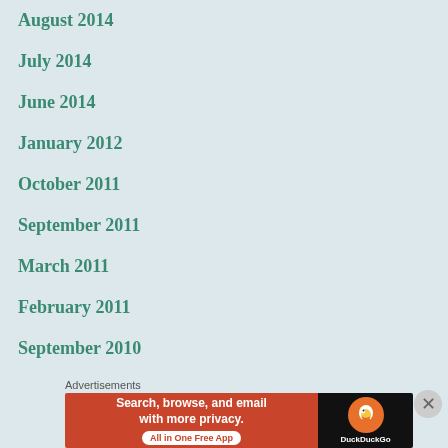August 2014
July 2014
June 2014
January 2012
October 2011
September 2011
March 2011
February 2011
September 2010
[Figure (screenshot): DuckDuckGo advertisement banner: 'Search, browse, and email with more privacy. All in One Free App' with DuckDuckGo logo on dark background]